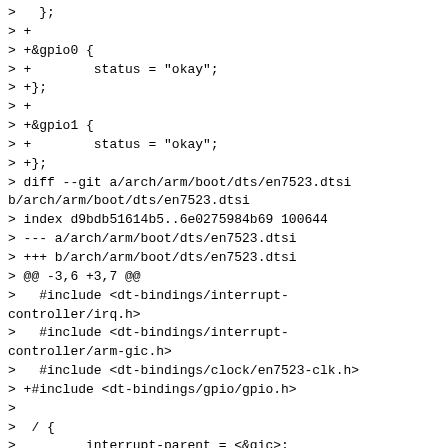>   };
> +
> +&gpio0 {
> +        status = "okay";
> +};
> +
> +&gpio1 {
> +        status = "okay";
> +};
> diff --git a/arch/arm/boot/dts/en7523.dtsi b/arch/arm/boot/dts/en7523.dtsi
> index d9bdb51614b5..6e0275984b69 100644
> --- a/arch/arm/boot/dts/en7523.dtsi
> +++ b/arch/arm/boot/dts/en7523.dtsi
> @@ -3,6 +3,7 @@
>   #include <dt-bindings/interrupt-controller/irq.h>
>   #include <dt-bindings/interrupt-controller/arm-gic.h>
>   #include <dt-bindings/clock/en7523-clk.h>
> +#include <dt-bindings/gpio/gpio.h>
>
>  / {
>         interrupt-parent = <&gic>;
> @@ -120,6 +121,26 @@ uart1: serial@1fbf0000 {
>                         status = "okay";
>                 };
>
> +        gpio0: gpio@1fbf0200 {